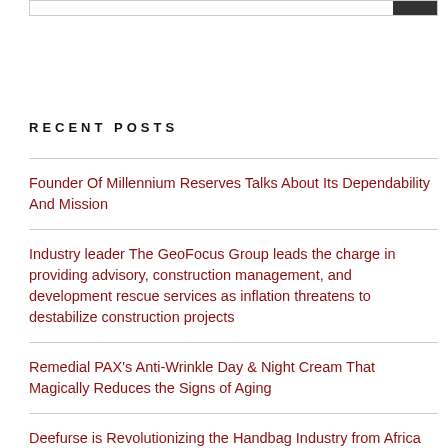RECENT POSTS
Founder Of Millennium Reserves Talks About Its Dependability And Mission
Industry leader The GeoFocus Group leads the charge in providing advisory, construction management, and development rescue services as inflation threatens to destabilize construction projects
Remedial PAX's Anti-Wrinkle Day & Night Cream That Magically Reduces the Signs of Aging
Deefurse is Revolutionizing the Handbag Industry from Africa